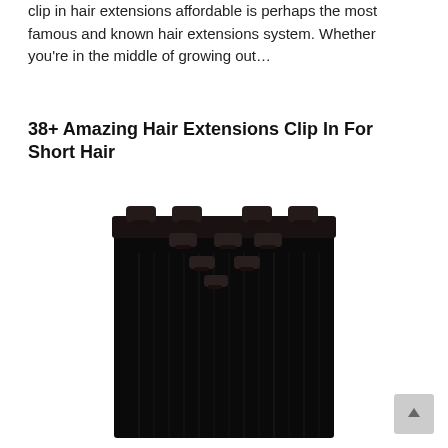clip in hair extensions affordable is perhaps the most famous and known hair extensions system. Whether you're in the middle of growing out…
38+ Amazing Hair Extensions Clip In For Short Hair
[Figure (photo): Black clip-in hair extensions weft with multiple snap clips visible at the top, showing straight dark hair panels fanned out downward.]
[Figure (other): Scroll-to-top button icon (upward arrow) in a grey rounded square in the bottom right corner.]